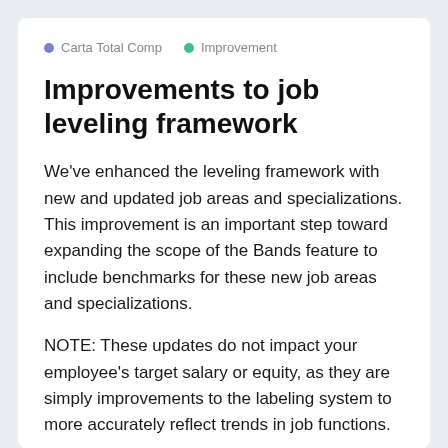Carta Total Comp  •  Improvement
Improvements to job leveling framework
We've enhanced the leveling framework with new and updated job areas and specializations. This improvement is an important step toward expanding the scope of the Bands feature to include benchmarks for these new job areas and specializations.
NOTE: These updates do not impact your employee's target salary or equity, as they are simply improvements to the labeling system to more accurately reflect trends in job functions.